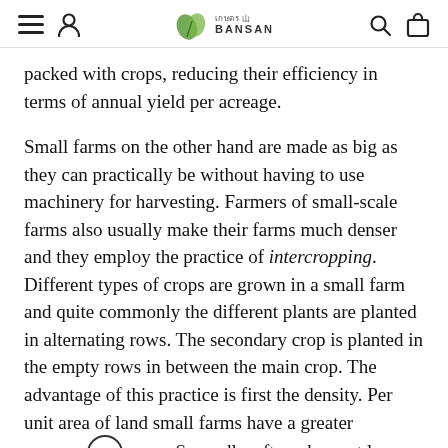BANSAN (navigation header with hamburger menu, user icon, logo, search icon, bag icon)
packed with crops, reducing their efficiency in terms of annual yield per acreage.

Small farms on the other hand are made as big as they can practically be without having to use machinery for harvesting. Farmers of small-scale farms also usually make their farms much denser and they employ the practice of intercropping. Different types of crops are grown in a small farm and quite commonly the different plants are planted in alternating rows. The secondary crop is planted in the empty rows in between the main crop. The advantage of this practice is first the density. Per unit area of land small farms have a greater amount of crop. Secondly, after a harvest large monoculture farms produce great yield but the farm will have nothing else for the farmers to use. Small farms with intercropping can have a second harvest. So per